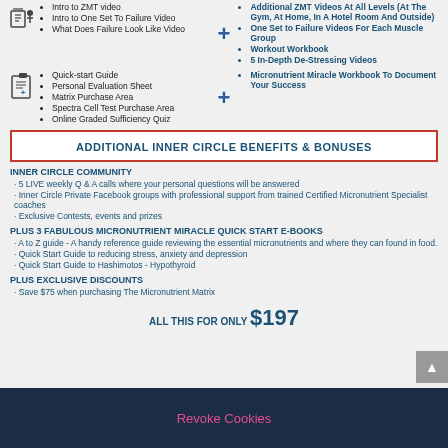Triple Threat Recipe Videos
Intro to ZMT video · Intro to One Set To Failure Video · What Does Failure Look Like Video
Additional ZMT Videos At All Levels (At The Gym, At Home, In A Hotel Room And Outside) · One Set to Failure Videos For Each Muscle Group · Workout Workbook · 5 In-Depth De-Stressing Videos
Quick-start Guide · Personal Evaluation Sheet · Matrix Purchase Area · Spectra Cell Test Purchase Area · Online Graded Sufficiency Quiz
Micronutrient Miracle Workbook To Document Your Success
ADDITIONAL INNER CIRCLE BENEFITS & BONUSES
INNER CIRCLE COMMUNITY
5 LIVE weekly Q & A calls where your personal questions will be answered
Inner Circle Private Facebook groups with professional support from trained Certified Micronutrient Specialist coaches
Exclusive Contests, events and prizes
PLUS 3 FABULOUS MICRONUTRIENT MIRACLE QUICK START E-BOOKS
A to Z guide - A handy reference guide reviewing the essential micronutrients and where they can found in food.
Quick Start Guide to reducing stress, anxiety and depression
Quick Start Guide to Hashimotos - Hypothyroid
PLUS EXCLUSIVE DISCOUNTS
Save $75 when purchasing The Micronutrient Matrix
ALL THIS FOR ONLY $197
Revoke Cookies